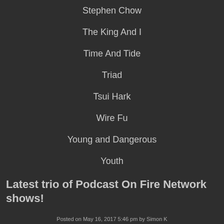Stephen Chow
The King And I
Time And Tide
Triad
Tsui Hark
Wire Fu
Young and Dangerous
Youth
Latest trio of Podcast On Fire Network shows!
Posted on May 16, 2017 5:46 pm by Simon K